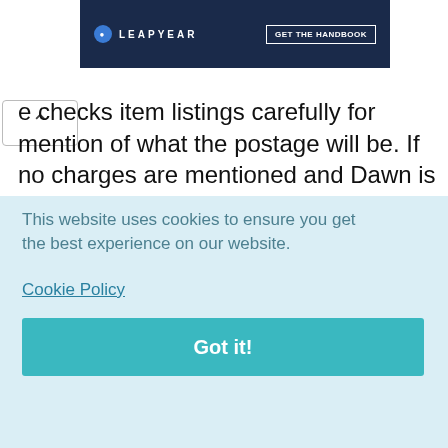[Figure (screenshot): Leapyear banner advertisement with dark blue background, Leapyear logo on left and 'GET THE HANDBOOK' button on right]
e checks item listings carefully for mention of what the postage will be. If no charges are mentioned and Dawn is very interested in the item she emails the seller. “Any decent seller will reply with their charges. The way they get back to me tells me a lot. If they don’t reply or send an unhelpful reply then I probably wouldn’t want to buy from them anyway as they
This website uses cookies to ensure you get the best experience on our website.
Cookie Policy
Got it!
costs for overseas items. For example Dawn